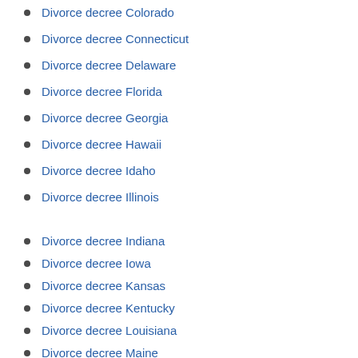Divorce decree Colorado
Divorce decree Connecticut
Divorce decree Delaware
Divorce decree Florida
Divorce decree Georgia
Divorce decree Hawaii
Divorce decree Idaho
Divorce decree Illinois
Divorce decree Indiana
Divorce decree Iowa
Divorce decree Kansas
Divorce decree Kentucky
Divorce decree Louisiana
Divorce decree Maine
Divorce decree Maryland
Divorce decree Massachusetts
Divorce decree Michigan
Divorce decree Minnesota